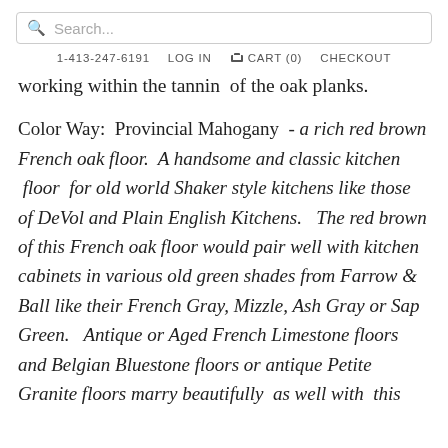Search...
1-413-247-6191   LOG IN   CART (0)   CHECKOUT
working within the tannin  of the oak planks.
Color Way:  Provincial Mahogany  - a rich red brown French oak floor.  A handsome and classic kitchen  floor  for old world Shaker style kitchens like those of DeVol and Plain English Kitchens.   The red brown of this French oak floor would pair well with kitchen cabinets in various old green shades from Farrow & Ball like their French Gray, Mizzle, Ash Gray or Sap Green.   Antique or Aged French Limestone floors and Belgian Bluestone floors or antique Petite Granite floors marry beautifully  as well with  this